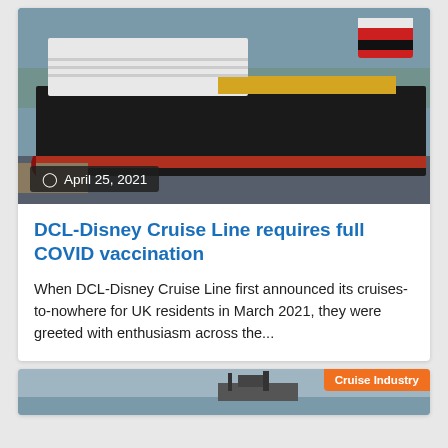[Figure (photo): Large cruise ship docked at port, black hull with red waterline, white upper decks, viewed from waterfront. Disney Cruise Line ship.]
April 25, 2021
DCL-Disney Cruise Line requires full COVID vaccination
When DCL-Disney Cruise Line first announced its cruises-to-nowhere for UK residents in March 2021, they were greeted with enthusiasm across the...
[Figure (photo): Partial view of another cruise ship, with Cruise Industry category badge visible.]